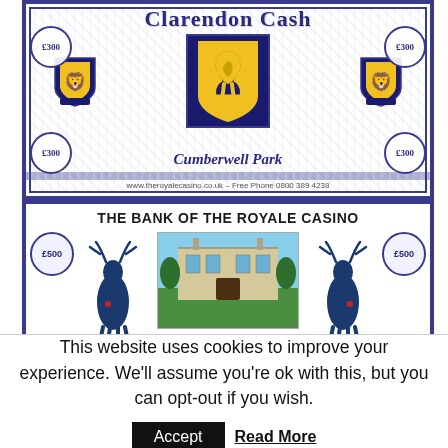[Figure (illustration): Clarendon Cash £300 banknote for Cumberwell Park with heraldic shields and lion emblem, blue border design]
[Figure (illustration): The Bank of the Royale Casino £500 banknote for Grittleton House featuring reindeer, snowflakes, and photo of a country house]
This website uses cookies to improve your experience. We'll assume you're ok with this, but you can opt-out if you wish.
Accept  Read More